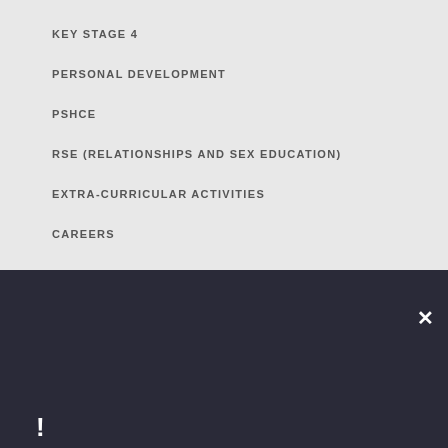KEY STAGE 4
PERSONAL DEVELOPMENT
PSHCE
RSE (RELATIONSHIPS AND SEX EDUCATION)
EXTRA-CURRICULAR ACTIVITIES
CAREERS
Cookie Policy
This site uses cookies to store information on your computer. Click here for more information
Allow Cookies
Deny Cookies